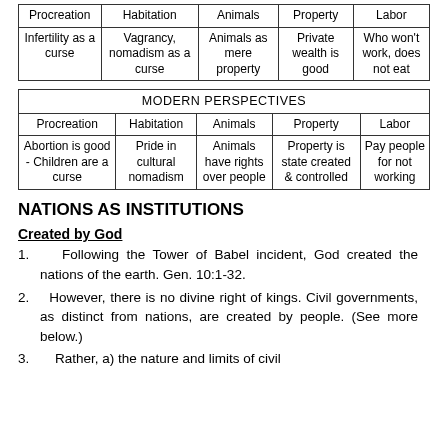| Procreation | Habitation | Animals | Property | Labor |
| --- | --- | --- | --- | --- |
| Infertility as a curse | Vagrancy, nomadism as a curse | Animals as mere property | Private wealth is good | Who won't work, does not eat |
| MODERN PERSPECTIVES |
| --- |
| Procreation | Habitation | Animals | Property | Labor |
| Abortion is good - Children are a curse | Pride in cultural nomadism | Animals have rights over people | Property is state created & controlled | Pay people for not working |
NATIONS AS INSTITUTIONS
Created by God
1.   Following the Tower of Babel incident, God created the nations of the earth. Gen. 10:1-32.
2.  However, there is no divine right of kings. Civil governments, as distinct from nations, are created by people. (See more below.)
3.    Rather, a) the nature and limits of civil